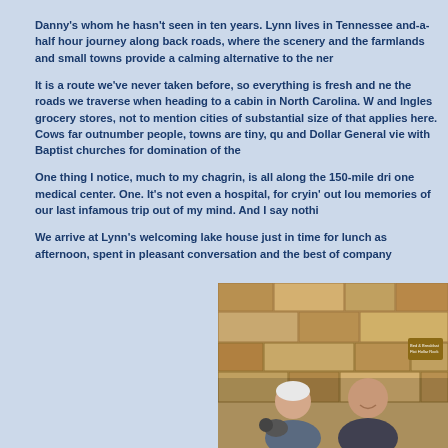Danny's whom he hasn't seen in ten years.  Lynn lives in Tennessee and-a-half hour journey along back roads, where the scenery and the farmlands and small towns provide a calming alternative to the ner
It is a route we've never taken before, so everything is fresh and ne the roads we traverse when heading to a cabin in North Carolina.  W and Ingles grocery stores, not to mention cities of substantial size of that applies here.  Cows far outnumber people, towns are tiny, qu and Dollar General vie with Baptist churches for domination of the
One thing I notice, much to my chagrin, is all along the 150-mile dri one medical center.  One.  It's not even a hospital, for cryin' out lou memories of our last infamous trip out of my mind.  And I say nothi
We arrive at Lynn's welcoming lake house just in time for lunch as afternoon, spent in pleasant conversation and the best of company
[Figure (photo): Two men and a dog posing in front of a stone wall background. The man on the left is older with white hair holding a small dog, and the man on the right is bald and smiling.]